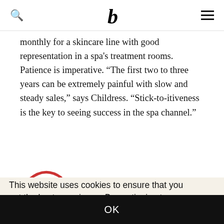b
monthly for a skincare line with good representation in a spa's treatment rooms. Patience is imperative. "The first two to three years can be extremely painful with slow and steady sales," says Childress. "Stick-to-itiveness is the key to seeing success in the spa channel."
[Figure (illustration): Red arc/smile decorative element]
This website uses cookies to ensure that you get the best experience. By continuing to browse the site you are agreeing to our use of cookies.  Learn More
spa
such
t
after. Grimm also emphasizes farm to skincare stories can